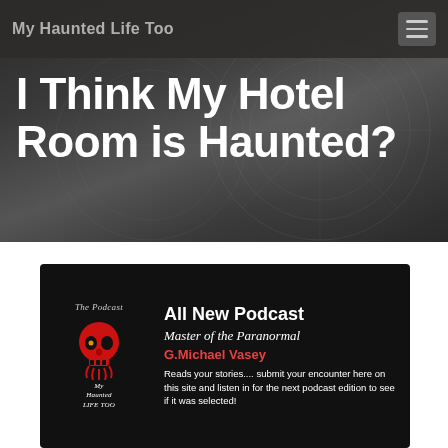My Haunted Life Too
I Think My Hotel Room is Haunted?
[Figure (illustration): Podcast advertisement card with black background featuring a red skull logo, text 'All New Podcast', 'Master of the Paranormal', 'G.Michael Vasey', and description about reading stories and submitting encounters.]